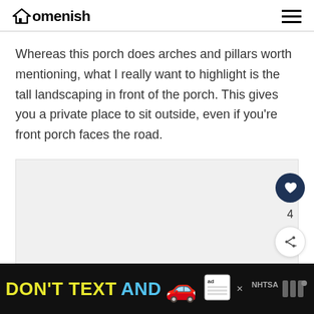Homenish
Whereas this porch does arches and pillars worth mentioning, what I really want to highlight is the tall landscaping in front of the porch. This gives you a private place to sit outside, even if you’re front porch faces the road.
[Figure (photo): Light gray placeholder area representing an image of a porch with landscaping]
DON'T TEXT AND [car emoji] ad NHTSA advertisement banner